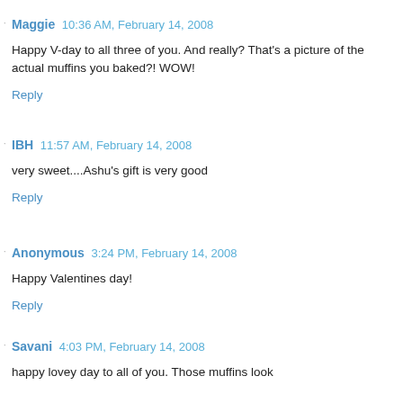Maggie  10:36 AM, February 14, 2008
Happy V-day to all three of you. And really? That's a picture of the actual muffins you baked?! WOW!
Reply
IBH  11:57 AM, February 14, 2008
very sweet....Ashu's gift is very good
Reply
Anonymous  3:24 PM, February 14, 2008
Happy Valentines day!
Reply
Savani  4:03 PM, February 14, 2008
happy lovey day to all of you. Those muffins look